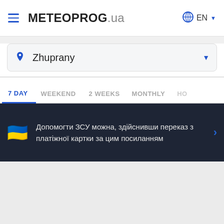METEOPROG.ua  EN
Zhuprany
7 DAY  WEEKEND  2 WEEKS  MONTHLY  HO
Допомогти ЗСУ можна, здійснивши переказ з платіжної картки за цим посиланням